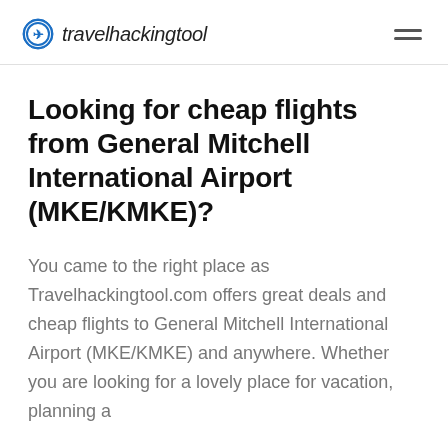travelhackingtool
Looking for cheap flights from General Mitchell International Airport (MKE/KMKE)?
You came to the right place as Travelhackingtool.com offers great deals and cheap flights to General Mitchell International Airport (MKE/KMKE) and anywhere. Whether you are looking for a lovely place for vacation, planning a